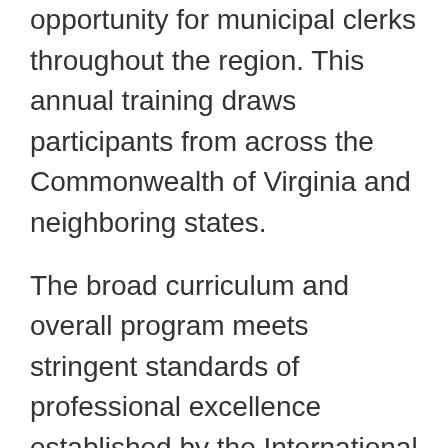opportunity for municipal clerks throughout the region. This annual training draws participants from across the Commonwealth of Virginia and neighboring states.
The broad curriculum and overall program meets stringent standards of professional excellence established by the International Institute of Municipal Clerks (IIMC). In addition to learning specialized skill sets required to be effective in municipal government, participants in the Municipal Clerks Institute and Academy earn credit toward the esteemed designations of